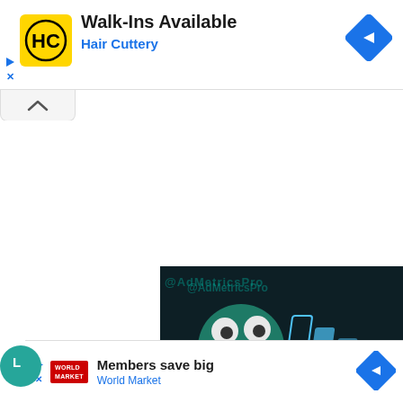[Figure (screenshot): Hair Cuttery ad banner with yellow HC logo, 'Walk-Ins Available' headline, 'Hair Cuttery' subtitle in blue, and blue navigation diamond icon on the right]
[Figure (screenshot): Collapse/minimize chevron tab below the top ad]
[Figure (screenshot): Dark video ad showing animated monster character with '@AdMetricsPro' watermark and close button]
[Figure (screenshot): World Market bottom ad banner with 'Members save big' headline and blue navigation icon]